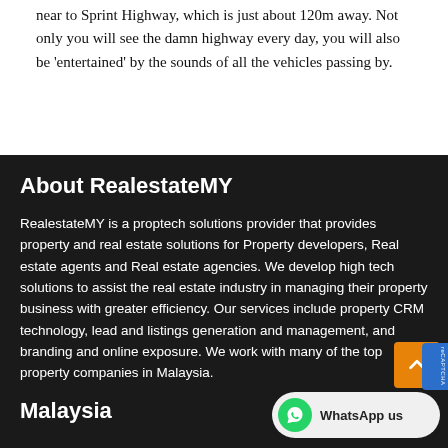near to Sprint Highway, which is just about 120m away. Not only you will see the damn highway every day, you will also be 'entertained' by the sounds of all the vehicles passing by.
About RealestateMY
RealestateMY is a proptech solutions provider that provides property and real estate solutions for Property developers, Real estate agents and Real estate agencies. We develop high tech solutions to assist the real estate industry in managing their property business with greater efficiency. Our services include property CRM technology, lead and listings generation and management, and branding and online exposure. We work with many of the top property companies in Malaysia.
Malaysia